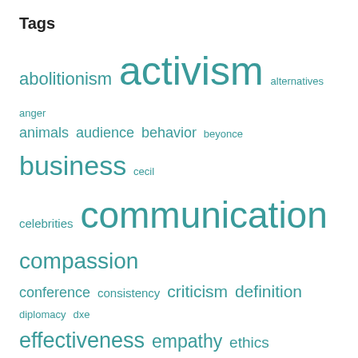Tags
[Figure (infographic): A tag cloud displaying various topic tags in different font sizes proportional to their frequency/importance. Tags include: abolitionism, activism, alternatives, anger, animals, audience, behavior, beyonce, business, cecil, celebrities, communication, compassion, conference, consistency, criticism, definition, diplomacy, dxe, effectiveness, empathy, ethics, exceptions, francione, hypocrisy, ideology, incrementalism, interview, meat industry, money, morality, organisations, philosophy, positive, pragmatism, products, psychology, purity, rationality, reduction, research, strategy, taste, thought, experiment, video. All tags are in teal/dark cyan color.]